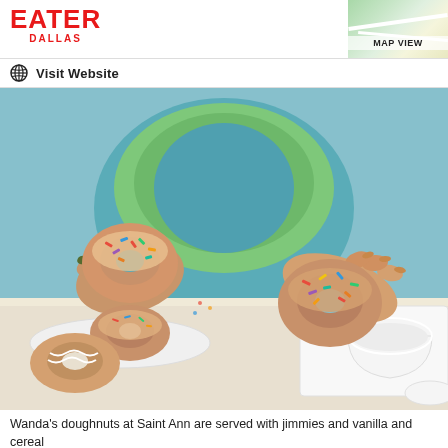EATER DALLAS
Visit Website
[Figure (photo): Two hands holding sprinkle-covered doughnuts above a table with more doughnuts on a plate and a white bowl, colorful jimmies visible on the doughnuts]
Wanda's doughnuts at Saint Ann are served with jimmies and vanilla and cereal